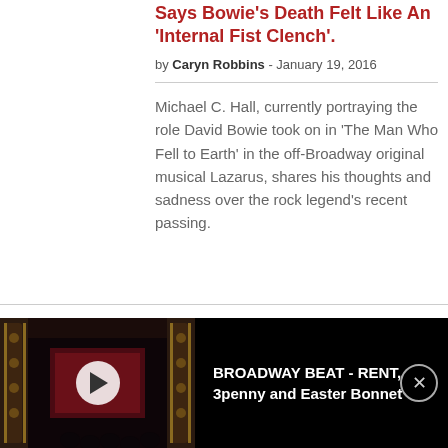Says Bowie's Death Felt Like An 'Internal Fist Clench'.
by Caryn Robbins - January 19, 2016
Michael C. Hall, currently portraying the role David Bowie took on in 'The Man Who Fell to Earth' in the off-Broadway original musical Lazarus, shares his thoughts and sadness over the rock legend's recent passing.
PHOTO FLASH: David Bowie
[Figure (screenshot): Video player thumbnail showing a theater interior with red curtains and stage lighting. A white play button circle is overlaid in the center. A black bar below shows the label 'BROADWAY BEAT - RENT, 3penny and Easter Bonnet' with a close button.]